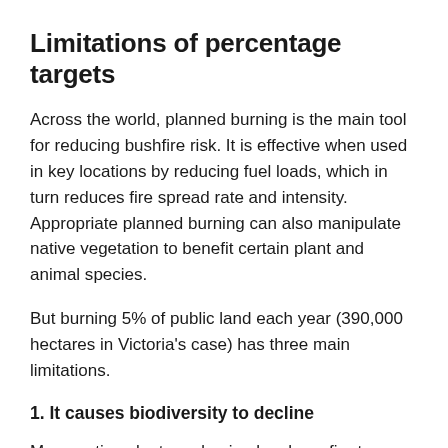Limitations of percentage targets
Across the world, planned burning is the main tool for reducing bushfire risk. It is effective when used in key locations by reducing fuel loads, which in turn reduces fire spread rate and intensity. Appropriate planned burning can also manipulate native vegetation to benefit certain plant and animal species.
But burning 5% of public land each year (390,000 hectares in Victoria's case) has three main limitations.
1. It causes biodiversity to decline
Many native plants and animals rely on fire to regenerate habitat and maintain populations, but too much fire can be bad.